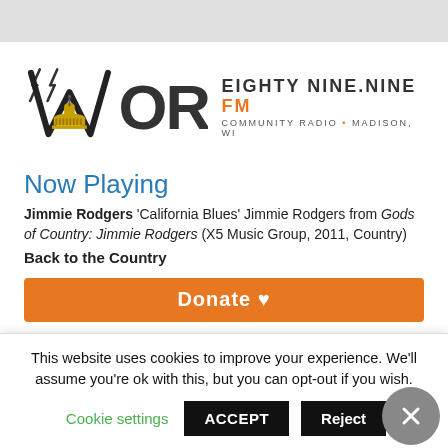[Figure (logo): WORT 89.9 FM Community Radio Madison WI logo with capitol building graphic]
Now Playing
Jimmie Rodgers 'California Blues' Jimmie Rodgers from Gods of Country: Jimmie Rodgers (X5 Music Group, 2011, Country)
Back to the Country
[Figure (other): Orange Donate button]
This website uses cookies to improve your experience. We'll assume you're ok with this, but you can opt-out if you wish.
Cookie settings
ACCEPT
Reject